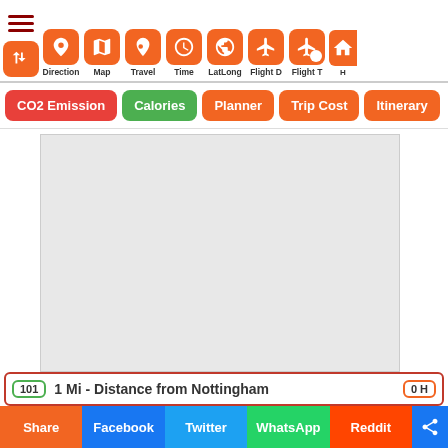Navigation toolbar with Direction, Map, Travel, Time, LatLong, Flight D, Flight T icons
CO2 Emission | Calories | Planner | Trip Cost | Itinerary
[Figure (map): Gray placeholder map area]
101 | 1 Mi - Distance from Nottingham | 0 H
Share | Facebook | Twitter | WhatsApp | Reddit